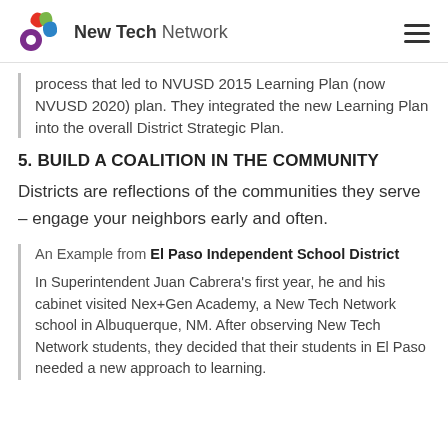New Tech Network
process that led to NVUSD 2015 Learning Plan (now NVUSD 2020) plan. They integrated the new Learning Plan into the overall District Strategic Plan.
5. BUILD A COALITION IN THE COMMUNITY
Districts are reflections of the communities they serve – engage your neighbors early and often.
An Example from El Paso Independent School District
In Superintendent Juan Cabrera's first year, he and his cabinet visited Nex+Gen Academy, a New Tech Network school in Albuquerque, NM. After observing New Tech Network students, they decided that their students in El Paso needed a new approach to learning.